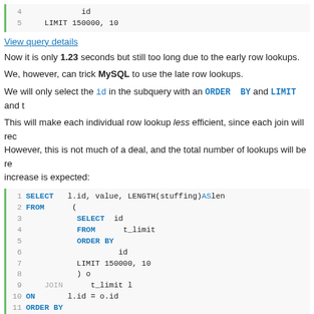[Figure (screenshot): Top code block showing lines 4-5: id and LIMIT 150000, 10]
View query details
Now it is only 1.23 seconds but still too long due to the early row lookups.
We, however, can trick MySQL to use the late row lookups.
We will only select the id in the subquery with an ORDER BY and LIMIT and t
This will make each individual row lookup less efficient, since each join will rec... However, this is not much of a deal, and the total number of lookups will be re... increase is expected:
[Figure (screenshot): SQL code block lines 1-12 showing SELECT with subquery and JOIN]
View query details